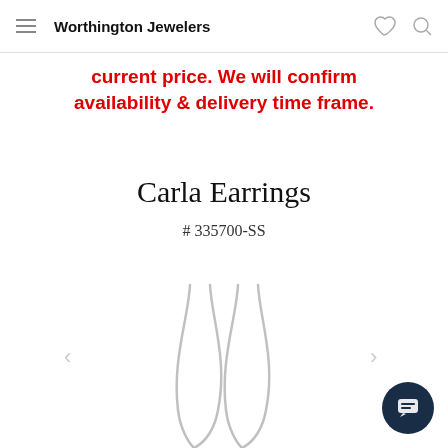Worthington Jewelers
current price. We will confirm availability & delivery time frame.
Carla Earrings
# 335700-SS
[Figure (photo): Two thin silver wire arc/threader earrings displayed on white background, elegant curved drop style]